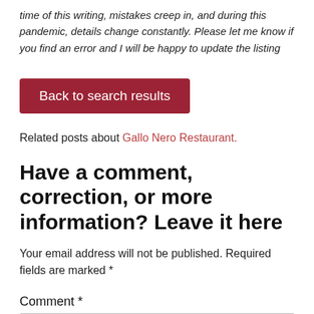time of this writing, mistakes creep in, and during this pandemic, details change constantly. Please let me know if you find an error and I will be happy to update the listing
Back to search results
Related posts about Gallo Nero Restaurant.
Have a comment, correction, or more information? Leave it here
Your email address will not be published. Required fields are marked *
Comment *